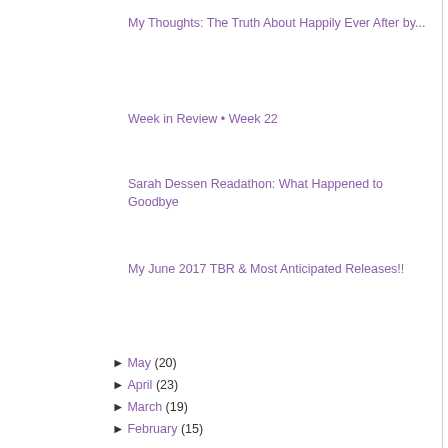My Thoughts: The Truth About Happily Ever After by...
Week in Review • Week 22
Sarah Dessen Readathon: What Happened to Goodbye
My June 2017 TBR & Most Anticipated Releases!!
► May (20)
► April (23)
► March (19)
► February (15)
► January (21)
► 2016 (168)
► 2015 (193)
► 2014 (174)
► 2013 (123)
► 2012 (228)
And I am re
Here's
[Figure (illustration): Decorative script/handwriting text 'Hap' in large cursive gray font]
Posted by Christy @ TheReaderBee at
Labels: Monthly Wrap Up
3 comments:
Esther @ BiteIntoBooks J